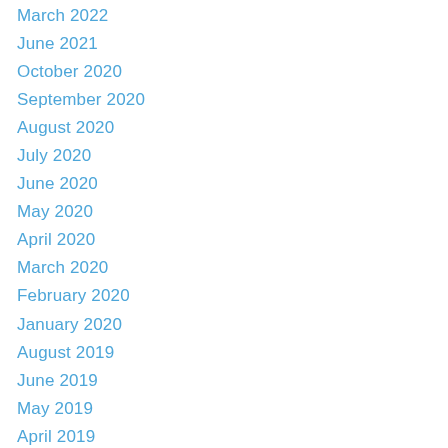March 2022
June 2021
October 2020
September 2020
August 2020
July 2020
June 2020
May 2020
April 2020
March 2020
February 2020
January 2020
August 2019
June 2019
May 2019
April 2019
March 2019
February 2019
January 2019
December 2018